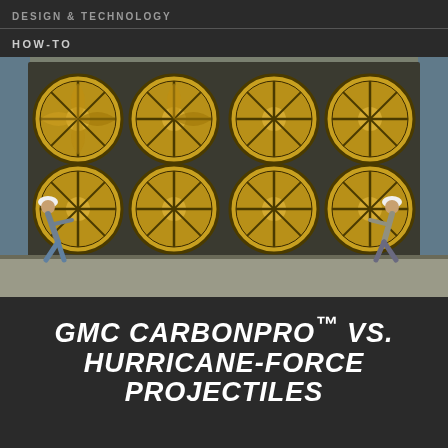DESIGN & TECHNOLOGY
HOW-TO
[Figure (photo): Two workers in hard hats standing on either side of a large wall of eight yellow industrial wind fans/turbines arranged in a 2x4 grid, used for hurricane-force wind testing.]
GMC CARBONPRO™ VS. HURRICANE-FORCE PROJECTILES